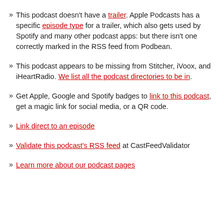This podcast doesn't have a trailer. Apple Podcasts has a specific episode type for a trailer, which also gets used by Spotify and many other podcast apps: but there isn't one correctly marked in the RSS feed from Podbean.
This podcast appears to be missing from Stitcher, iVoox, and iHeartRadio. We list all the podcast directories to be in.
Get Apple, Google and Spotify badges to link to this podcast, get a magic link for social media, or a QR code.
Link direct to an episode
Validate this podcast's RSS feed at CastFeedValidator
Learn more about our podcast pages